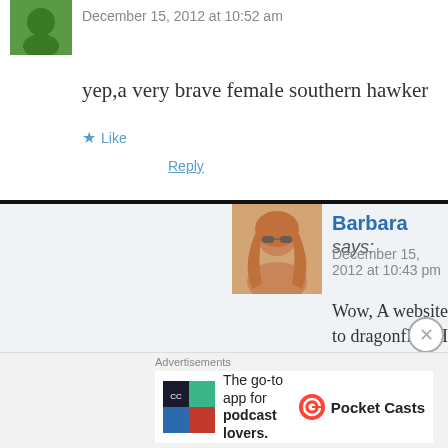December 15, 2012 at 10:52 am
yep,a very brave female southern hawker
★ Like
Reply
Barbara says:
December 15, 2012 at 10:43 pm
Wow, A website dedicated to dragonflies! I 'dragonfly in cats mouth photo' now!! altho
★ Like
Reply
Advertisements
The go-to app for podcast lovers.
Pocket Casts